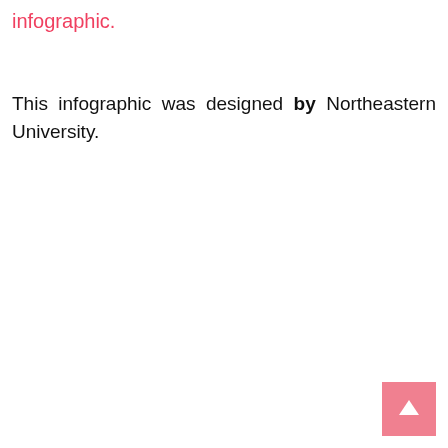infographic.
This infographic was designed by Northeastern University.
[Figure (other): Pink/salmon colored button with white upward arrow, positioned in the bottom-right corner of the page.]